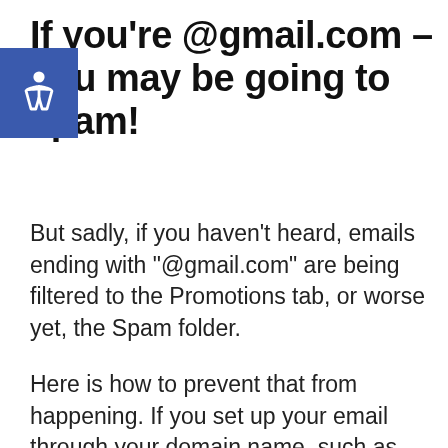If you're @gmail.com – you may be going to spam!
But sadly, if you haven't heard, emails ending with "@gmail.com" are being filtered to the Promotions tab, or worse yet, the Spam folder.
Here is how to prevent that from happening. If you set up your email through your domain name, such as suzi@startamomblog.com, instead of suzi@gmail.com, your emails won't